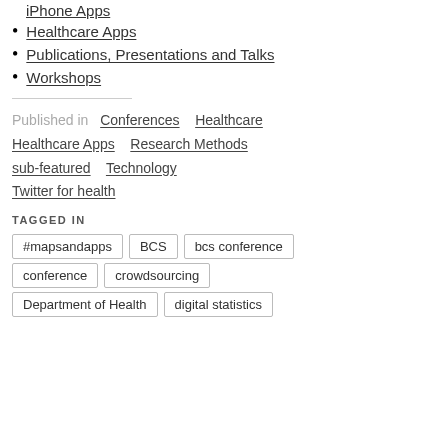iPhone Apps
Healthcare Apps
Publications, Presentations and Talks
Workshops
Published in   Conferences   Healthcare   Healthcare Apps   Research Methods   sub-featured   Technology   Twitter for health
TAGGED IN
#mapsandapps   BCS   bcs conference   conference   crowdsourcing   Department of Health   digital statistics